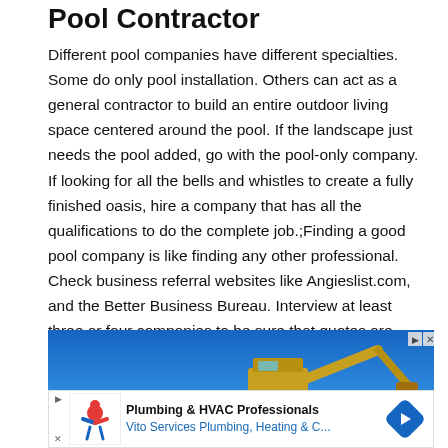Pool Contractor
Different pool companies have different specialties. Some do only pool installation. Others can act as a general contractor to build an entire outdoor living space centered around the pool. If the landscape just needs the pool added, go with the pool-only company. If looking for all the bells and whistles to create a fully finished oasis, hire a company that has all the qualifications to do the complete job.;Finding a good pool company is like finding any other professional. Check business referral websites like Angieslist.com, and the Better Business Bureau. Interview at least three or four companies to be sure that quotes are competitive.
[Figure (photo): Advertisement image showing a yellow excavator/construction equipment against a blue sky background, with ad control buttons (play/close) in the top right corner.]
[Figure (infographic): Banner advertisement for Vito Services: 'Plumbing & HVAC Professionals - Vito Services Plumbing, Heating & C...' with a logo featuring a red and blue figure, and a blue diamond with a white arrow icon.]